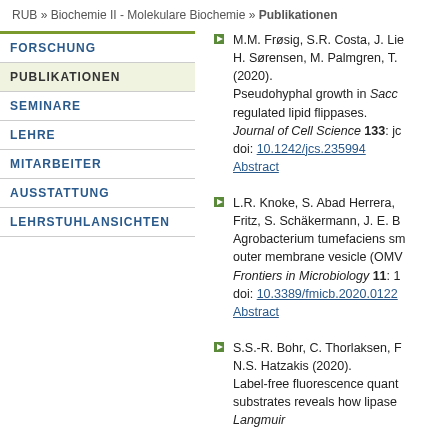RUB » Biochemie II - Molekulare Biochemie » Publikationen
FORSCHUNG
PUBLIKATIONEN
SEMINARE
LEHRE
MITARBEITER
AUSSTATTUNG
LEHRSTUHLANSICHTEN
M.M. Frøsig, S.R. Costa, J. Lie... H. Sørensen, M. Palmgren, T.... (2020). Pseudohyphal growth in Sacc... regulated lipid flippases. Journal of Cell Science 133: jc... doi: 10.1242/jcs.235994 Abstract
L.R. Knoke, S. Abad Herrera, ... Fritz, S. Schäkermann, J. E. B... Agrobacterium tumefaciens sm... outer membrane vesicle (OMV... Frontiers in Microbiology 11: 1... doi: 10.3389/fmicb.2020.0122... Abstract
S.S.-R. Bohr, C. Thorlaksen, F... N.S. Hatzakis (2020). Label-free fluorescence quant... substrates reveals how lipase... Langmuir